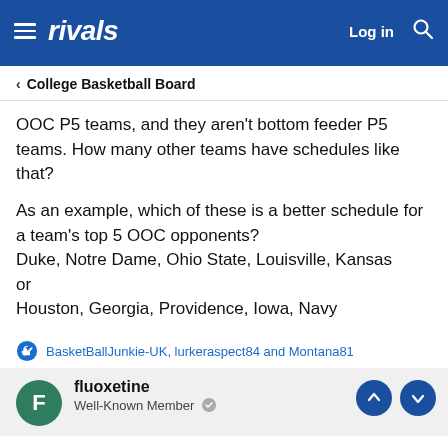rivals — Log in [search]
< College Basketball Board
OOC P5 teams, and they aren't bottom feeder P5 teams. How many other teams have schedules like that?

As an example, which of these is a better schedule for a team's top 5 OOC opponents?
Duke, Notre Dame, Ohio State, Louisville, Kansas
or
Houston, Georgia, Providence, Iowa, Navy
or
Do we brag about who played better cupcakes?
👍 BasketBallJunkie-UK, lurkeraspect84 and Montana81
fluoxetine
Well-Known Member